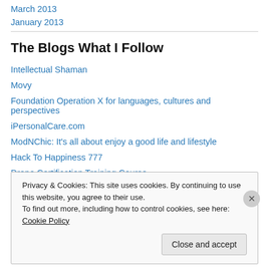March 2013
January 2013
The Blogs What I Follow
Intellectual Shaman
Movy
Foundation Operation X for languages, cultures and perspectives
iPersonalCare.com
ModNChic: It's all about enjoy a good life and lifestyle
Hack To Happiness 777
Drone Certification Training Course
Privacy & Cookies: This site uses cookies. By continuing to use this website, you agree to their use. To find out more, including how to control cookies, see here: Cookie Policy
Close and accept